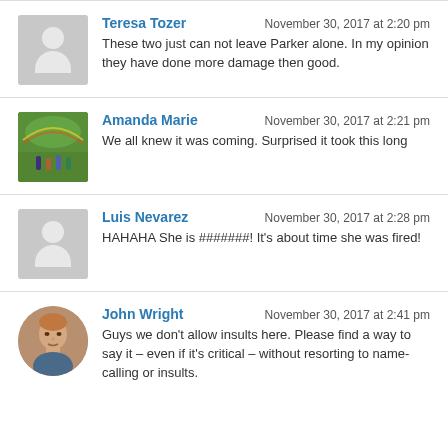Teresa Tozer — November 30, 2017 at 2:20 pm — These two just can not leave Parker alone. In my opinion they have done more damage then good.
Amanda Marie — November 30, 2017 at 2:21 pm — We all knew it was coming. Surprised it took this long
Luis Nevarez — November 30, 2017 at 2:28 pm — HAHAHA She is #######! It's about time she was fired!
John Wright — November 30, 2017 at 2:41 pm — Guys we don't allow insults here. Please find a way to say it – even if it's critical – without resorting to name-calling or insults.